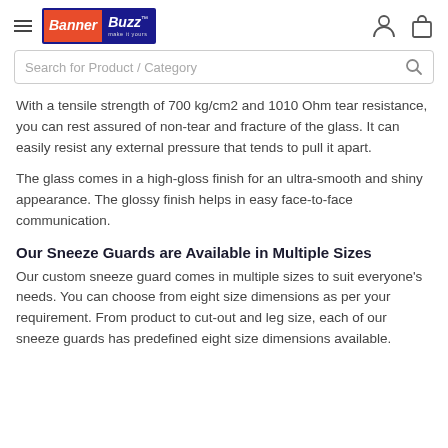BannerBuzz
Search for Product / Category
With a tensile strength of 700 kg/cm2 and 1010 Ohm tear resistance, you can rest assured of non-tear and fracture of the glass. It can easily resist any external pressure that tends to pull it apart.
The glass comes in a high-gloss finish for an ultra-smooth and shiny appearance. The glossy finish helps in easy face-to-face communication.
Our Sneeze Guards are Available in Multiple Sizes
Our custom sneeze guard comes in multiple sizes to suit everyone's needs. You can choose from eight size dimensions as per your requirement. From product to cut-out and leg size, each of our sneeze guards has predefined eight size dimensions available.